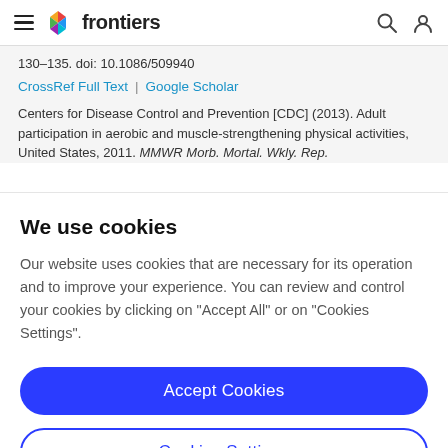frontiers
130–135. doi: 10.1086/509940
CrossRef Full Text | Google Scholar
Centers for Disease Control and Prevention [CDC] (2013). Adult participation in aerobic and muscle-strengthening physical activities, United States, 2011. MMWR Morb. Mortal. Wkly. Rep.
We use cookies
Our website uses cookies that are necessary for its operation and to improve your experience. You can review and control your cookies by clicking on "Accept All" or on "Cookies Settings".
Accept Cookies
Cookies Settings